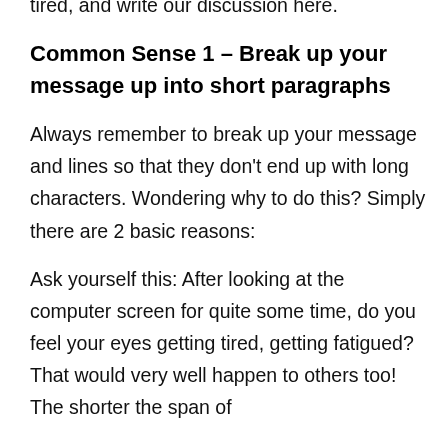tired, and write our discussion here.
Common Sense 1 – Break up your message up into short paragraphs
Always remember to break up your message and lines so that they don't end up with long characters. Wondering why to do this? Simply there are 2 basic reasons:
Ask yourself this: After looking at the computer screen for quite some time, do you feel your eyes getting tired, getting fatigued? That would very well happen to others too! The shorter the span of